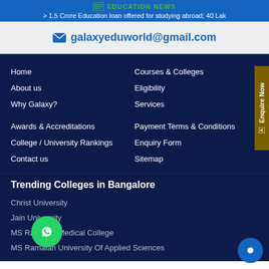EDUCATION NEWS
> 1.5 Crore Education loan offered for studying abroad; 40 Lak
✉ galaxyeduworld@gmail.com
Home
About us
Why Galaxy?
Courses & Colleges
Eligibility
Services
Awards & Accreditations
College / University Rankings
Contact us
Payment Terms & Conditions
Enquiry Form
Sitemap
Trending Colleges in Bangalore
Christ University
Jain University
MS Ramaiah Medical College
MS Ramaiah University Of Applied Sciences